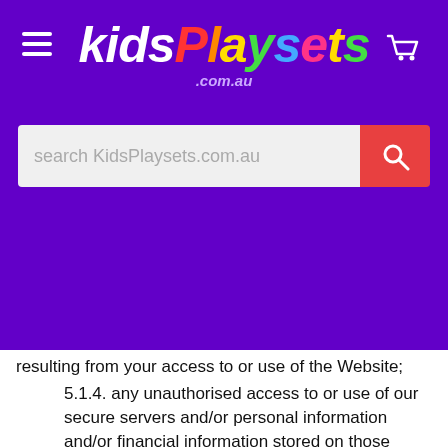Kids Playsets .com.au — website header with logo, hamburger menu, cart icon, and search bar
resulting from your access to or use of the Website;
5.1.4. any unauthorised access to or use of our secure servers and/or personal information and/or financial information stored on those servers;
5.1.5. any interruption or cessation of transmission to or from the Website;
5.1.6. any bugs, viruses, trojan horses or other harmful code or communications which may be transmitted to or through our Website by any third party; and/or
5.1.7. the quality of any product or service of any linked sites.